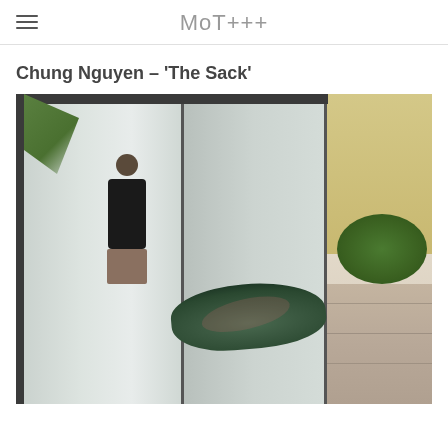MoT+++
Chung Nguyen – ‘The Sack’
[Figure (photo): Outdoor courtyard scene with sliding glass doors. A person in a black shirt stands inside the building looking out. On the tiled outdoor floor lies a large dark green sack/sculptural object. In the background on the right are green bushes, a stone wall planter, and a yellow building.]